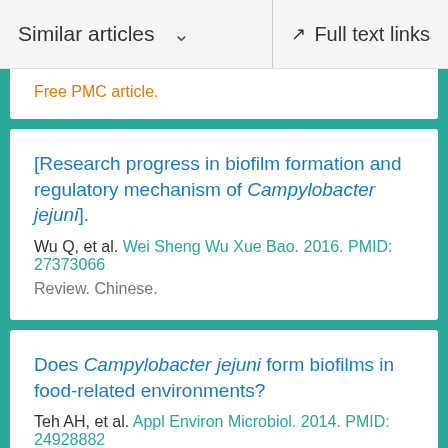Similar articles   Full text links
Free PMC article.
[Research progress in biofilm formation and regulatory mechanism of Campylobacter jejuni].
Wu Q, et al. Wei Sheng Wu Xue Bao. 2016. PMID: 27373066
Review. Chinese.
Does Campylobacter jejuni form biofilms in food-related environments?
Teh AH, et al. Appl Environ Microbiol. 2014. PMID: 24928882
Free PMC article. Review.
See all similar articles